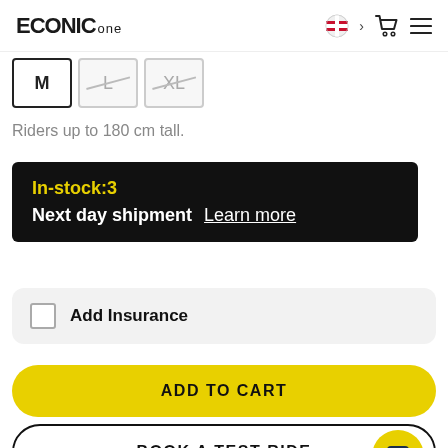ECONIC one
M
L
XL
Riders up to 180 cm tall.
In-stock:3
Next day shipment   Learn more
Add Insurance
ADD TO CART
BOOK A TEST RIDE